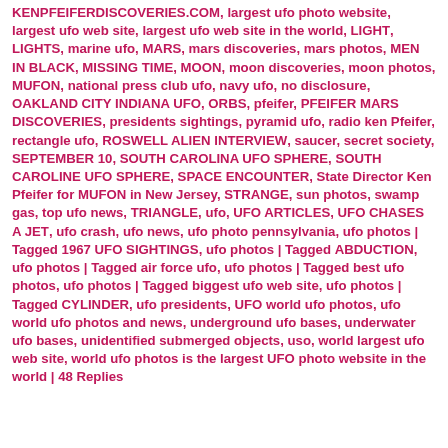KENPFEIFERDISCOVERIES.COM, largest ufo photo website, largest ufo web site, largest ufo web site in the world, LIGHT, LIGHTS, marine ufo, MARS, mars discoveries, mars photos, MEN IN BLACK, MISSING TIME, MOON, moon discoveries, moon photos, MUFON, national press club ufo, navy ufo, no disclosure, OAKLAND CITY INDIANA UFO, ORBS, pfeifer, PFEIFER MARS DISCOVERIES, presidents sightings, pyramid ufo, radio ken Pfeifer, rectangle ufo, ROSWELL ALIEN INTERVIEW, saucer, secret society, SEPTEMBER 10, SOUTH CAROLINA UFO SPHERE, SOUTH CAROLINE UFO SPHERE, SPACE ENCOUNTER, State Director Ken Pfeifer for MUFON in New Jersey, STRANGE, sun photos, swamp gas, top ufo news, TRIANGLE, ufo, UFO ARTICLES, UFO CHASES A JET, ufo crash, ufo news, ufo photo pennsylvania, ufo photos | Tagged 1967 UFO SIGHTINGS, ufo photos | Tagged ABDUCTION, ufo photos | Tagged air force ufo, ufo photos | Tagged best ufo photos, ufo photos | Tagged biggest ufo web site, ufo photos | Tagged CYLINDER, ufo presidents, UFO world ufo photos, ufo world ufo photos and news, underground ufo bases, underwater ufo bases, unidentified submerged objects, uso, world largest ufo web site, world ufo photos is the largest UFO photo website in the world | 48 Replies